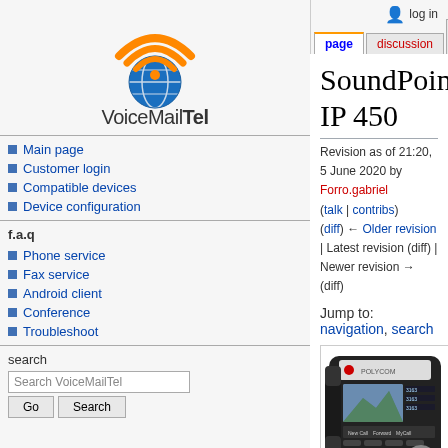[Figure (logo): VoiceMailTel logo with orange arc/wifi signal icon above a globe, and text VoiceMailTel below]
Main page
Customer login
Compatible devices
Device configuration
f.a.q
Phone service
Fax service
Android client
Conference
Troubleshoot
search
log in
page | discussion | view source | history
SoundPoint IP 450
Revision as of 21:20, 5 June 2020 by Forro.gabriel (talk | contribs)
(diff) ← Older revision | Latest revision (diff) | Newer revision → (diff)
Jump to: navigation, search
[Figure (photo): Photo of a Polycom SoundPoint IP 450 desk phone, black, with handset, LCD display showing mountain image and numbers, keypad, and navigation buttons]